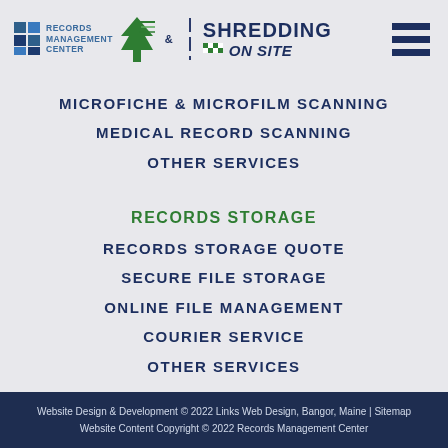[Figure (logo): Records Management Center and Shredding On Site company logo with tree icon and hamburger menu icon]
MICROFICHE & MICROFILM SCANNING
MEDICAL RECORD SCANNING
OTHER SERVICES
RECORDS STORAGE
RECORDS STORAGE QUOTE
SECURE FILE STORAGE
ONLINE FILE MANAGEMENT
COURIER SERVICE
OTHER SERVICES
Website Design & Development © 2022 Links Web Design, Bangor, Maine | Sitemap
Website Content Copyright © 2022 Records Management Center